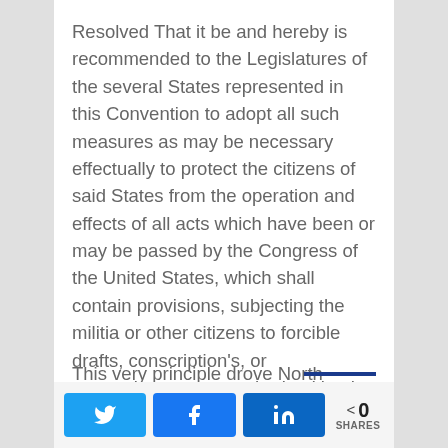Resolved That it be and hereby is recommended to the Legislatures of the several States represented in this Convention to adopt all such measures as may be necessary effectually to protect the citizens of said States from the operation and effects of all acts which have been or may be passed by the Congress of the United States, which shall contain provisions, subjecting the militia or other citizens to forcible drafts, conscription's, or presentiments, not authorized by the Constitution of the United States"
This very principle drove North Carolina and